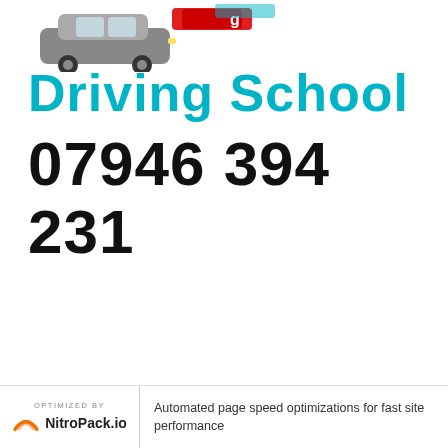[Figure (logo): Driving school logo with a grey car and a red/blue banner graphic at the top]
Driving School
07946 394 231
[Figure (logo): NitroPack.io 'Optimized By' badge with orange arc icon]
Automated page speed optimizations for fast site performance